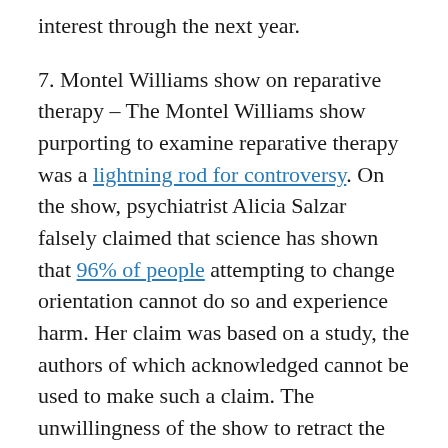interest through the next year.
7. Montel Williams show on reparative therapy – The Montel Williams show purporting to examine reparative therapy was a lightning rod for controversy. On the show, psychiatrist Alicia Salzar falsely claimed that science has shown that 96% of people attempting to change orientation cannot do so and experience harm. Her claim was based on a study, the authors of which acknowledged cannot be used to make such a claim. The unwillingness of the show to retract the statement led to a ethics complaint against Dr. Salzar, filed by Exodus International.